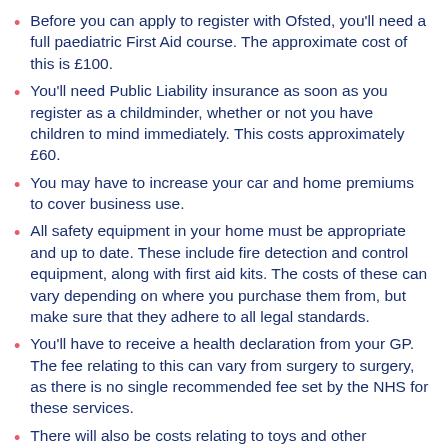Before you can apply to register with Ofsted, you'll need a full paediatric First Aid course. The approximate cost of this is £100.
You'll need Public Liability insurance as soon as you register as a childminder, whether or not you have children to mind immediately. This costs approximately £60.
You may have to increase your car and home premiums to cover business use.
All safety equipment in your home must be appropriate and up to date. These include fire detection and control equipment, along with first aid kits. The costs of these can vary depending on where you purchase them from, but make sure that they adhere to all legal standards.
You'll have to receive a health declaration from your GP. The fee relating to this can vary from surgery to surgery, as there is no single recommended fee set by the NHS for these services.
There will also be costs relating to toys and other equipment. You might have much of this already, but